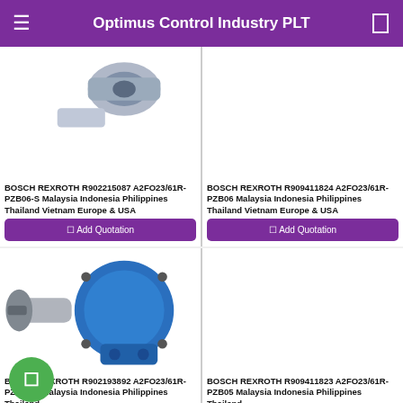Optimus Control Industry PLT
[Figure (photo): Partial view of a hydraulic pump/motor component at the top, white background]
BOSCH REXROTH R902215087 A2FO23/61R-PZB06-S Malaysia Indonesia Philippines Thailand Vietnam Europe & USA
☐ Add Quotation
[Figure (photo): White background card, no visible product image]
BOSCH REXROTH R909411824 A2FO23/61R-PZB06 Malaysia Indonesia Philippines Thailand Vietnam Europe & USA
☐ Add Quotation
[Figure (photo): Blue hydraulic axial piston pump/motor (Bosch Rexroth A2FO series) on white background, with green FAB button overlay]
BOSCH REXROTH R902193892 A2FO23/61R-PZB05-S Malaysia Indonesia Philippines Thailand
[Figure (photo): White background card, no visible product image]
BOSCH REXROTH R909411823 A2FO23/61R-PZB05 Malaysia Indonesia Philippines Thailand